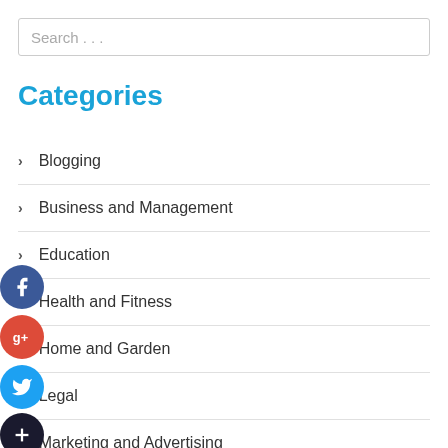Search . . .
Categories
Blogging
Business and Management
Education
Health and Fitness
Home and Garden
Legal
Marketing and Advertising
Pets